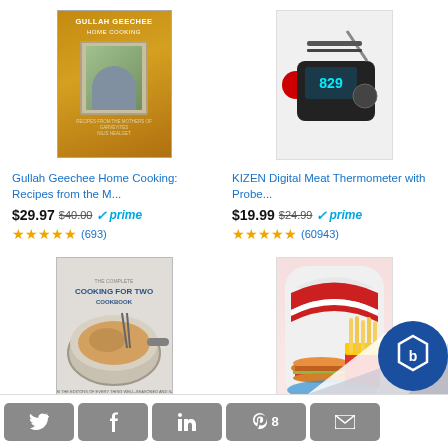[Figure (photo): Gullah Geechee Home Cooking book cover with golden/yellow background]
Gullah Geechee Home Cooking: Recipes from the M...
$29.97 $40.00 prime (693)
[Figure (photo): KIZEN digital meat thermometer with probe, black and red device]
KIZEN Digital Meat Thermometer with Probe...
$19.99 $24.99 prime (60943)
[Figure (photo): The Complete Cooking for Two Cookbook cover with pan and food]
The Complete Cooking for Two Cookbook: 650 Recipes for ...
[Figure (photo): Street Food Stand Cooking Game app icon with burger and fries]
Street Food Stand Coo... Game
[Figure (infographic): Corner page fold with Manage badge overlay in bottom right]
Twitter share | Facebook share | LinkedIn share | Pinterest 8 | Email share | Manage